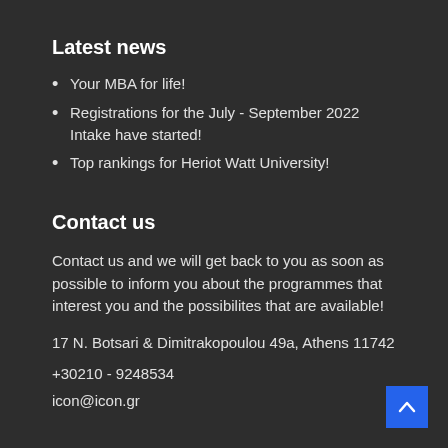Latest news
Your MBA for life!
Registrations for the July - September 2022 Intake have started!
Top rankings for Heriot Watt University!
Contact us
Contact us and we will get back to you as soon as possible to inform you about the programmes that interest you and the possibilites that are available!
17 N. Botsari & Dimitrakopoulou 49a, Athens 11742
+30210 - 9248534
icon@icon.gr